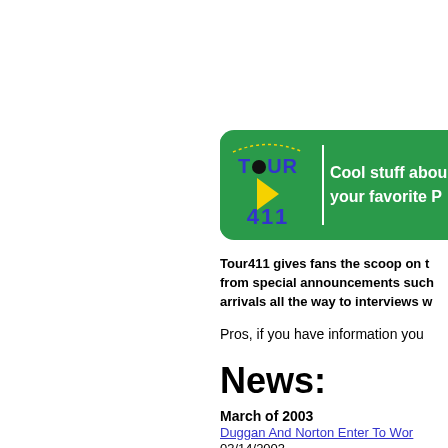[Figure (logo): Tour411 logo on green banner background with text 'Cool stuff about your favorite P...']
Tour411 gives fans the scoop on t... from special announcements such... arrivals all the way to interviews w...
Pros, if you have information you...
News:
March of 2003
Duggan And Norton Enter To Wor...
03/14/2003
Pete Weber Selected BWAA Bowle...